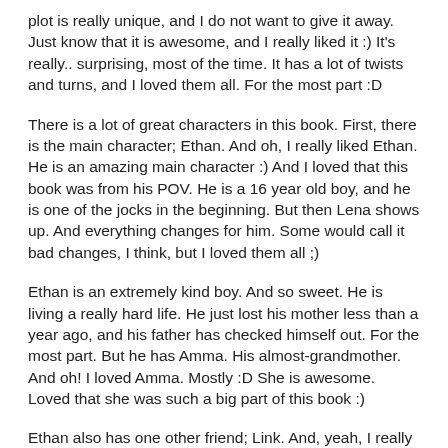plot is really unique, and I do not want to give it away. Just know that it is awesome, and I really liked it :) It's really.. surprising, most of the time. It has a lot of twists and turns, and I loved them all. For the most part :D
There is a lot of great characters in this book. First, there is the main character; Ethan. And oh, I really liked Ethan. He is an amazing main character :) And I loved that this book was from his POV. He is a 16 year old boy, and he is one of the jocks in the beginning. But then Lena shows up. And everything changes for him. Some would call it bad changes, I think, but I loved them all ;)
Ethan is an extremely kind boy. And so sweet. He is living a really hard life. He just lost his mother less than a year ago, and his father has checked himself out. For the most part. But he has Amma. His almost-grandmother. And oh! I loved Amma. Mostly :D She is awesome. Loved that she was such a big part of this book :)
Ethan also has one other friend; Link. And, yeah, I really liked Link as well :) He's a bit weird; but then, who isn't? ;)